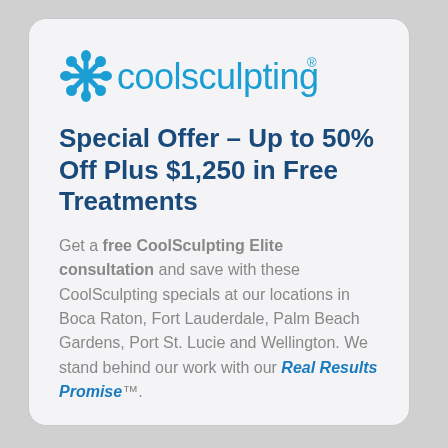[Figure (logo): CoolSculpting logo with blue snowflake icon and blue 'coolsculpting®' wordmark]
Special Offer – Up to 50% Off Plus $1,250 in Free Treatments
Get a free CoolSculpting Elite consultation and save with these CoolSculpting specials at our locations in Boca Raton, Fort Lauderdale, Palm Beach Gardens, Port St. Lucie and Wellington. We stand behind our work with our Real Results Promise™.